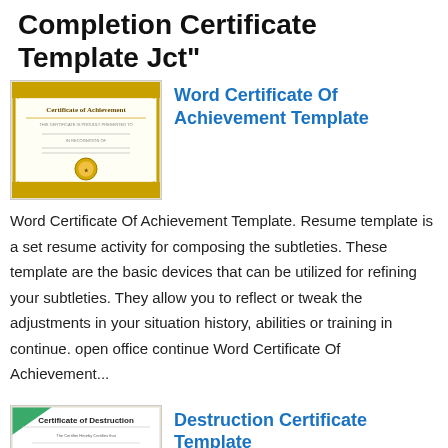Completion Certificate Template Jct"
Word Certificate Of Achievement Template
Word Certificate Of Achievement Template. Resume template is a set resume activity for composing the subtleties. These template are the basic devices that can be utilized for refining your subtleties. They allow you to reflect or tweak the adjustments in your situation history, abilities or training in continue. open office continue Word Certificate Of Achievement...
Destruction Certificate Template
Destruction Certificate Template. Resume template is a set resume society for composing the subtleties. These template are the basic devices that can be utilized for refining your subtleties. They allow you to reflect or fine-tune the adjustments in your matter history, abilities or training in continue. admission office continue Destruction Certificate Template are the